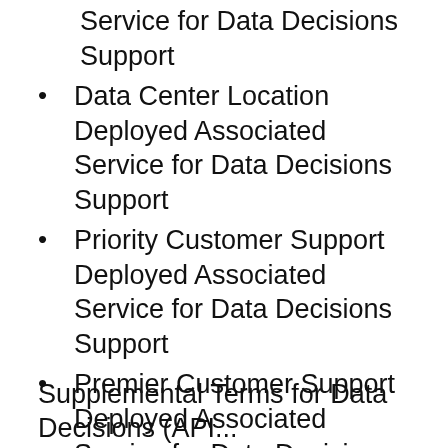Service for Data Decisions Support
Data Center Location Deployed Associated Service for Data Decisions Support
Priority Customer Support Deployed Associated Service for Data Decisions Support
Premier Customer Support Deployed Associated Service for Data Decisions Support
Advanced Security Deployed Associated Service for Data Decisions Support
Premium Sandbox Deployed Associated Service for Data Decisions Support
Supplemental Terms for Data Decisions (API...